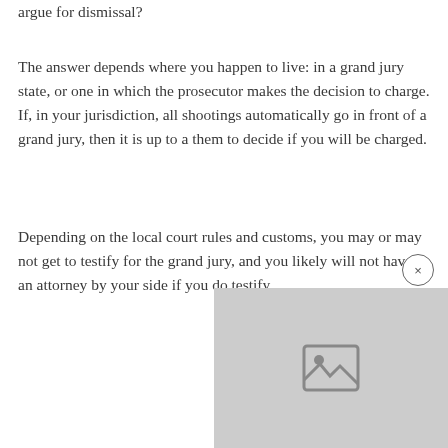argue for dismissal?
The answer depends where you happen to live: in a grand jury state, or one in which the prosecutor makes the decision to charge. If, in your jurisdiction, all shootings automatically go in front of a grand jury, then it is up to a them to decide if you will be charged.
Depending on the local court rules and customs, you may or may not get to testify for the grand jury, and you likely will not have an attorney by your side if you do testify.
[Figure (photo): Image placeholder with a photo icon on a gray background]